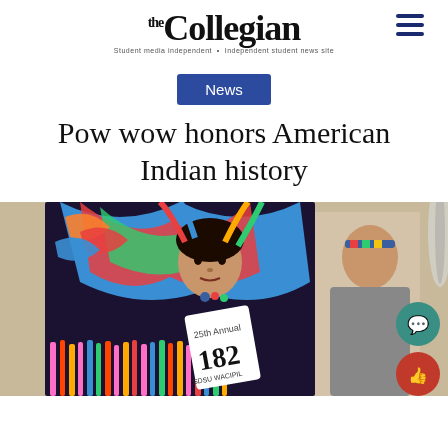the Collegian — Student media independent news organization
News
Pow wow honors American Indian history
[Figure (photo): A dancer in colorful traditional Native American regalia with bright ribbons and fringe, wearing a competition number 182 badge reading '25th Annual SDSU WACIPIL'. A second dancer in traditional dress is visible in the background.]